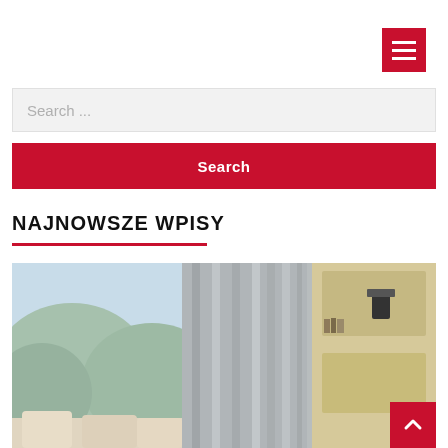[Figure (other): Hamburger menu button (three white lines on red background), top-right corner]
[Figure (other): Search input field with placeholder text 'Search ...' on light grey background]
[Figure (other): Red search button with white bold text 'Search']
NAJNOWSZE WPISY
[Figure (photo): Interior room photo showing grey curtains with natural light from window on the left showing mountains/trees, and built-in shelving unit on the right with a small dark lamp and books]
[Figure (other): Back-to-top button: red square with white upward chevron, bottom-right of photo area]